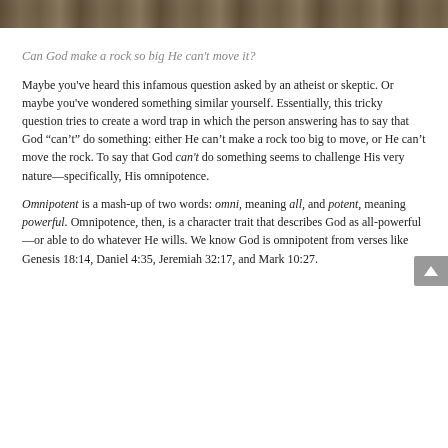[Figure (photo): Top strip showing a rocky/stone texture photograph, partially cropped at top of page.]
Can God make a rock so big He can't move it?
Maybe you've heard this infamous question asked by an atheist or skeptic. Or maybe you've wondered something similar yourself. Essentially, this tricky question tries to create a word trap in which the person answering has to say that God “can’t” do something: either He can’t make a rock too big to move, or He can’t move the rock. To say that God can’t do something seems to challenge His very nature—specifically, His omnipotence.
Omnipotent is a mash-up of two words: omni, meaning all, and potent, meaning powerful. Omnipotence, then, is a character trait that describes God as all-powerful—or able to do whatever He wills. We know God is omnipotent from verses like Genesis 18:14, Daniel 4:35, Jeremiah 32:17, and Mark 10:27.